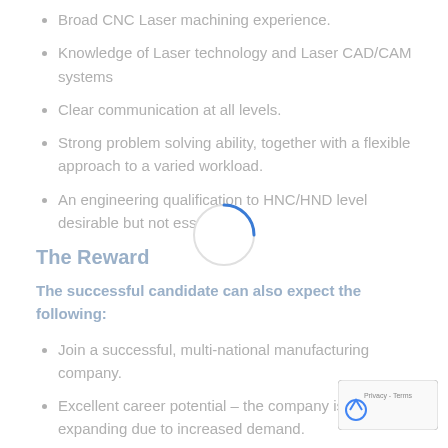Broad CNC Laser machining experience.
Knowledge of Laser technology and Laser CAD/CAM systems
Clear communication at all levels.
Strong problem solving ability, together with a flexible approach to a varied workload.
An engineering qualification to HNC/HND level desirable but not essential.
The Reward
The successful candidate can also expect the following:
Join a successful, multi-national manufacturing company.
Excellent career potential – the company is currently expanding due to increased demand.